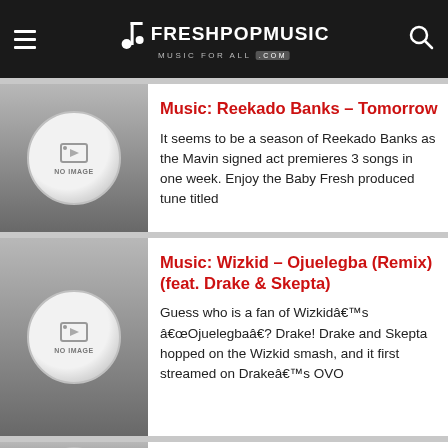FRESHPOPMUSIC — MUSIC FOR ALL .com
Music: Reekado Banks – Tomorrow
It seems to be a season of Reekado Banks as the Mavin signed act premieres 3 songs in one week. Enjoy the Baby Fresh produced tune titled
Music: Wizkid – Ojuelegba (Remix) (feat. Drake & Skepta)
Guess who is a fan of Wizkidâ€™s â€œOjuelegbaâ€? Drake! Drake and Skepta hopped on the Wizkid smash, and it first streamed on Drakeâ€™s OVO
Music: Dâ€™banj – Knocking On My Door (Ko Lo Yo Wo)